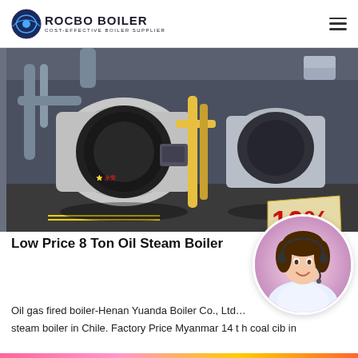ROCBO BOILER — COST-EFFECTIVE BOILER SUPPLIER
[Figure (photo): Industrial boiler room with large cylindrical oil/gas steam boilers, pipes, and yellow gas lines. A 10% DISCOUNT badge overlaid in bottom-right of the image.]
Low Price 8 Ton Oil Steam Boiler
[Figure (photo): Customer service representative — woman wearing a headset, smiling, in a circular crop.]
Oil gas fired boiler-Henan Yuanda Boiler Co., Ltd … steam boiler in Chile. Factory Price Myanmar 14 t h coal cib in